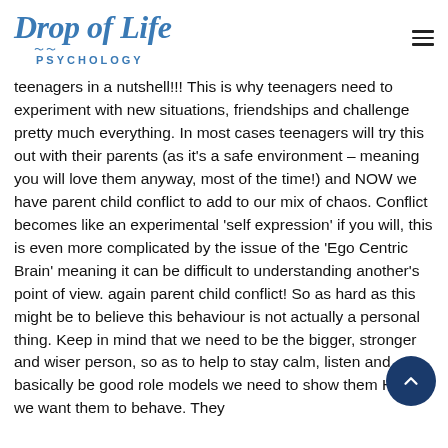Drop of Life Psychology
teenagers in a nutshell!!! This is why teenagers need to experiment with new situations, friendships and challenge pretty much everything. In most cases teenagers will try this out with their parents (as it's a safe environment – meaning you will love them anyway, most of the time!) and NOW we have parent child conflict to add to our mix of chaos. Conflict becomes like an experimental 'self expression' if you will, this is even more complicated by the issue of the 'Ego Centric Brain' meaning it can be difficult to understanding another's point of view. again parent child conflict! So as hard as this might be to believe this behaviour is not actually a personal thing. Keep in mind that we need to be the bigger, stronger and wiser person, so as to help to stay calm, listen and basically be good role models we need to show them HOW we want them to behave. They